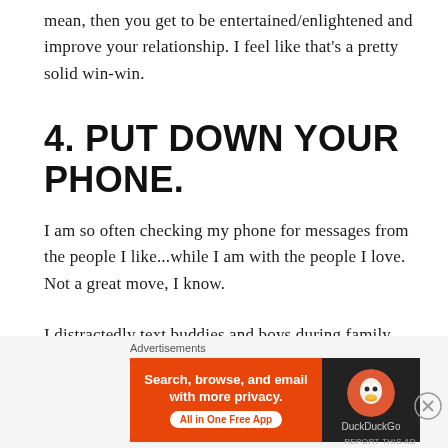mean, then you get to be entertained/enlightened and improve your relationship. I feel like that's a pretty solid win-win.
4. PUT DOWN YOUR PHONE.
I am so often checking my phone for messages from the people I like...while I am with the people I love. Not a great move, I know.
I distractedly text buddies and boys during family dinners. I read non-urgent work emails when I should be watching a movie with my friend. Too often, the vibration in my pocket trumps the person in front of
Advertisements
[Figure (screenshot): DuckDuckGo advertisement banner with orange left panel reading 'Search, browse, and email with more privacy. All in One Free App' and dark right panel with DuckDuckGo logo and duck icon.]